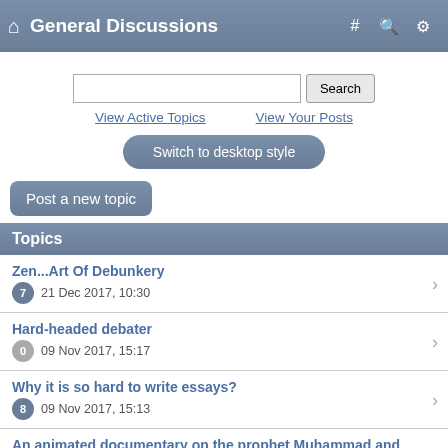General Discussions
Search | View Active Topics | View Your Posts | Switch to desktop style
Post a new topic
Topics
Zen...Art Of Debunkery — 7 replies — 21 Dec 2017, 10:30
Hard-headed debater — 0 replies — 09 Nov 2017, 15:17
Why it is so hard to write essays? — 8 replies — 09 Nov 2017, 15:13
An animated documentary on the prophet Muhammad and the...